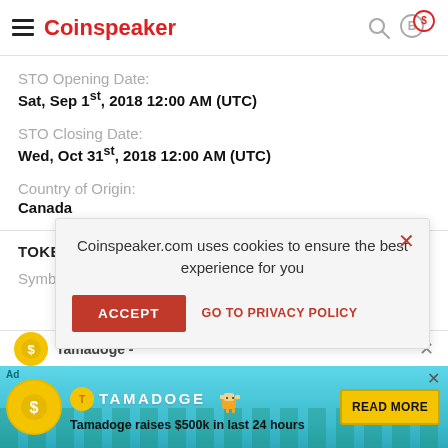Coinspeaker
STO Opening Date:
Sat, Sep 1st, 2018 12:00 AM (UTC)
STO Closing Date:
Wed, Oct 31st, 2018 12:00 AM (UTC)
Country of Origin:
Canada
TOKEN DETAIL
Symbol:
[Figure (screenshot): Cookie consent popup: 'Coinspeaker.com uses cookies to ensure the best experience for you' with ACCEPT button and GO TO PRIVACY POLICY link]
[Figure (screenshot): Tamadoge ad banner at bottom: 'Tamadoge raises $500k in last 24 hours' with READ MORE button]